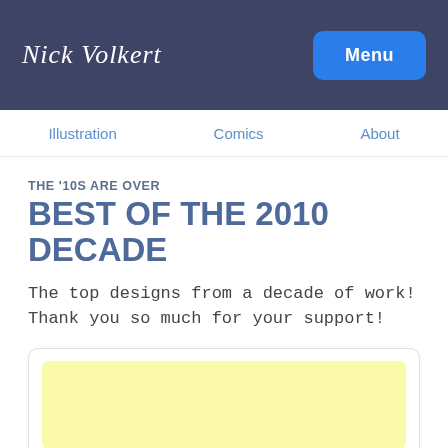Nick Volkert — Menu
Illustration | Comics | About
THE '10S ARE OVER
BEST OF THE 2010 DECADE
The top designs from a decade of work! Thank you so much for your support!
[Figure (illustration): Yellow/cream colored image placeholder inside a card]
"#1: Watermelon Skater"
Created: November, 2016 | Role: Illustrator
You might be cool, but are you a skating watermelon